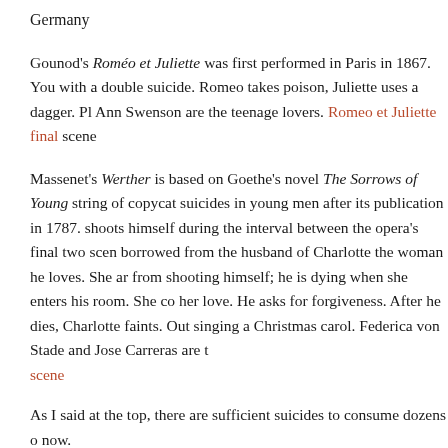Germany
Gounod's Roméo et Juliette was first performed in Paris in 1867. You with a double suicide. Romeo takes poison, Juliette uses a dagger. Pl Ann Swenson are the teenage lovers. Romeo et Juliette final scene
Massenet's Werther is based on Goethe's novel The Sorrows of Young string of copycat suicides in young men after its publication in 1787. shoots himself during the interval between the opera's final two scen borrowed from the husband of Charlotte the woman he loves. She ar from shooting himself; he is dying when she enters his room. She co her love. He asks for forgiveness. After he dies, Charlotte faints. Out singing a Christmas carol. Federica von Stade and Jose Carreras are t scene
As I said at the top, there are sufficient suicides to consume dozens o now.
Related Posts